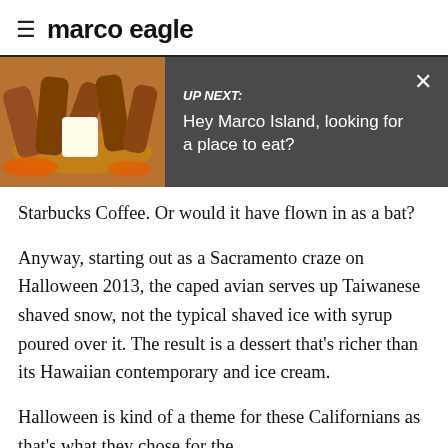marco eagle
[Figure (screenshot): UP NEXT banner with food photo on left showing fried chicken wings, dark gray background, close button X in top right. Text reads: UP NEXT: Hey Marco Island, looking for a place to eat?]
Starbucks Coffee. Or would it have flown in as a bat?
Anyway, starting out as a Sacramento craze on Halloween 2013, the caped avian serves up Taiwanese shaved snow, not the typical shaved ice with syrup poured over it. The result is a dessert that's richer than its Hawaiian contemporary and ice cream.
Halloween is kind of a theme for these Californians as that's what they chose for the